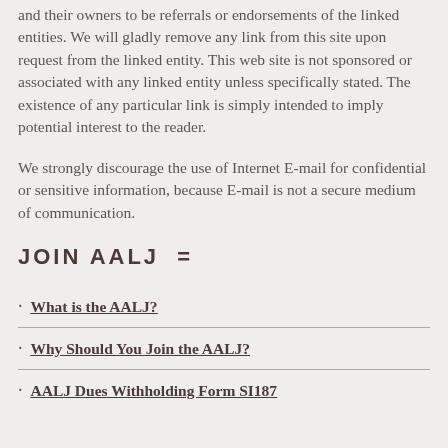and their owners to be referrals or endorsements of the linked entities. We will gladly remove any link from this site upon request from the linked entity. This web site is not sponsored or associated with any linked entity unless specifically stated. The existence of any particular link is simply intended to imply potential interest to the reader.
We strongly discourage the use of Internet E-mail for confidential or sensitive information, because E-mail is not a secure medium of communication.
JOIN AALJ  =
What is the AALJ?
Why Should You Join the AALJ?
AALJ Dues Withholding Form SI187